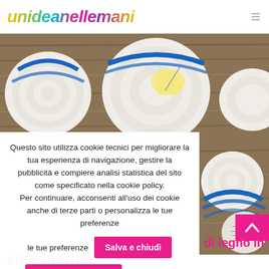[Figure (logo): Colorful italic logo text reading 'unideanellemani' with rainbow gradient]
[Figure (photo): Hero photo showing woven rope plates/baskets with blue cord accents on wooden surface]
Questo sito utilizza cookie tecnici per migliorare la tua esperienza di navigazione, gestire la pubblicità e compiere analisi statistica del sito come specificato nella cookie policy.
Per continuare, acconsenti all'uso dei cookie anche di terze parti o personalizza le tue preferenze
Salva e chiudi
Personalizza cookie
Leggi di più
[Figure (photo): Side photo of woven plates with blue cord and sketched illustration, on wooden surface]
di legno in
stile marine